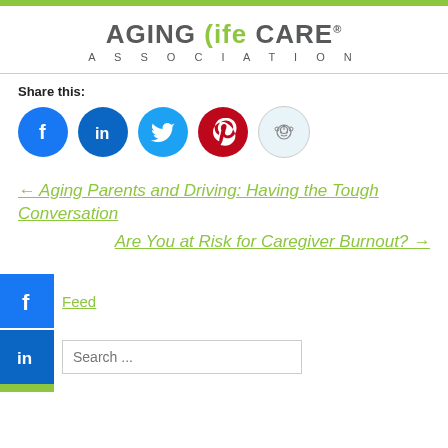[Figure (logo): Aging Life Care Association logo with green top bar]
Share this:
[Figure (infographic): Social share icons: Facebook (blue), LinkedIn (blue), Twitter (light blue), Pinterest (red), Reddit (light blue/grey)]
← Aging Parents and Driving: Having the Tough Conversation
Are You at Risk for Caregiver Burnout? →
Feed
Search ...